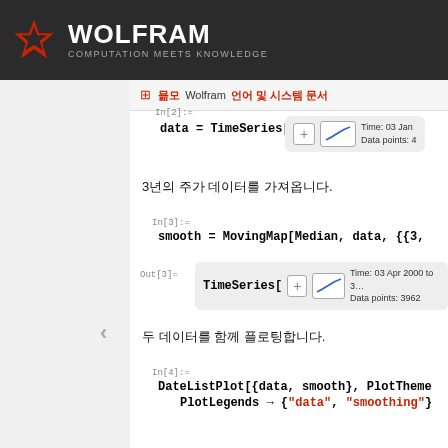WOLFRAM — COMPUTATION MEETS KNOWLEDGE
모든 Wolfram 언어 및 시스템 문서
In[2]:= data = TimeSeries[  [TimeSeries icon] Time: 03 Jan ... Data points: 4...
3년의 주가 데이터를 가져옵니다.
In[3]:= smooth = MovingMap[Median, data, {{3,
Out[3]= TimeSeries[  [icon] Time: 03 Apr 2000 to 3...  Data points: 3962
두 데이터를 함께 플로팅합니다.
In[4]:= DateListPlot[{data, smooth}, PlotTheme...
   PlotLegends → {"data", "smoothing"}